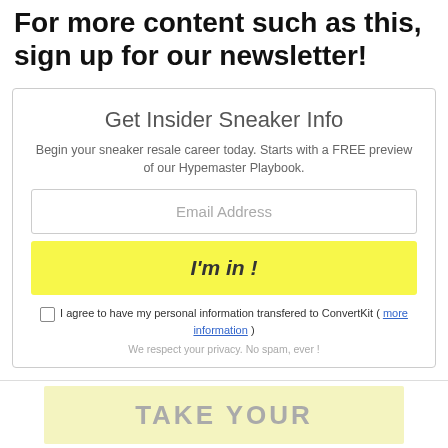For more content such as this, sign up for our newsletter!
[Figure (infographic): Newsletter signup widget with title 'Get Insider Sneaker Info', subtitle, email input, yellow submit button, consent checkbox, and privacy note.]
Get Insider Sneaker Info
Begin your sneaker resale career today. Starts with a FREE preview of our Hypemaster Playbook.
Email Address
I'm in !
I agree to have my personal information transfered to ConvertKit ( more information )
We respect your privacy. No spam, ever !
TAKE YOUR